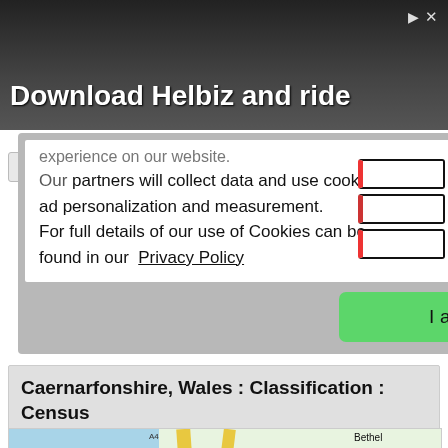[Figure (screenshot): Advertisement banner for 'Download Helbiz and ride' with dark background and person with camera]
experience on our website. Our partners will collect data and use cookies for ad personalization and measurement. For full details of our use of Cookies can be found in our  Privacy Policy
[Figure (screenshot): Green 'I accept' button in cookie consent overlay]
Caernarfonshire, Wales : Classification : Census
[Figure (map): Map showing Porth Waterloo area with roads A4 and A487, water body, and label Bethel]